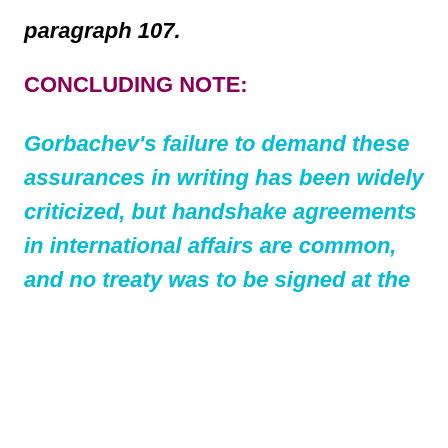paragraph 107.
CONCLUDING NOTE:
Gorbachev's failure to demand these assurances in writing has been widely criticized, but handshake agreements in international affairs are common, and no treaty was to be signed at the